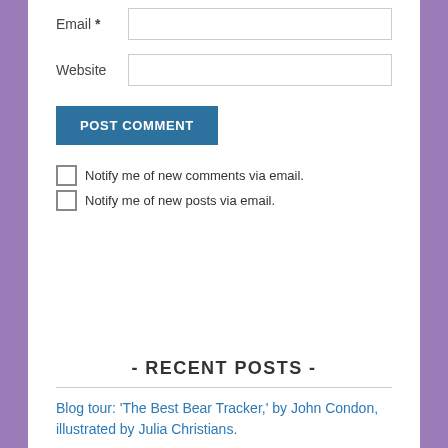Email *
Website
POST COMMENT
Notify me of new comments via email.
Notify me of new posts via email.
- RECENT POSTS -
Blog tour: 'The Best Bear Tracker,' by John Condon, illustrated by Julia Christians.